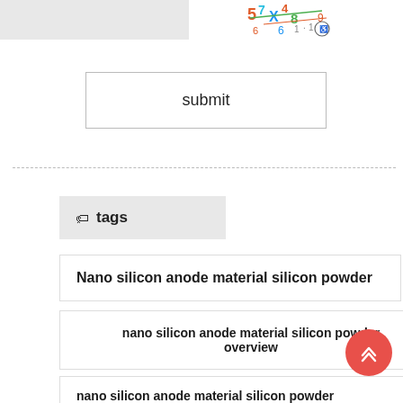[Figure (screenshot): Gray placeholder image on the left side of the top bar]
[Figure (illustration): Colorful numbers/math illustration on the right side of the top bar]
submit
Nano silicon anode material silicon powder
nano silicon anode material silicon powder overview
nano silicon anode material silicon powder